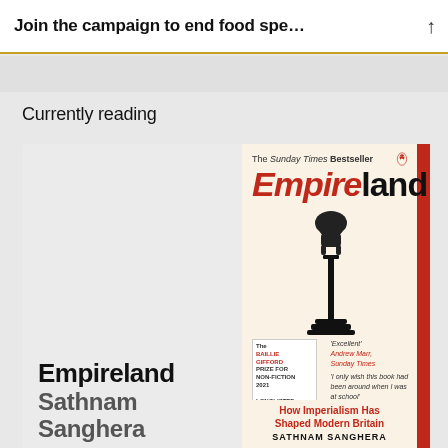Join the campaign to end food spe...
Currently reading
[Figure (illustration): Book cover of 'Empireland: How Imperialism Has Shaped Modern Britain' by Sathnam Sanghera. Published by Penguin. Cover shows a bulldog sitting atop a tall lamppost/column on a cream background with a red spine. Text includes: 'The Sunday Times Bestseller', 'Empire' in red italic and 'land' in black, quotes from Andrew Marr, Sadiq Khan, James O'Brien, and Baillie Gifford Prize longlisted 2021 badge.]
Empireland
Sathnam Sanghera